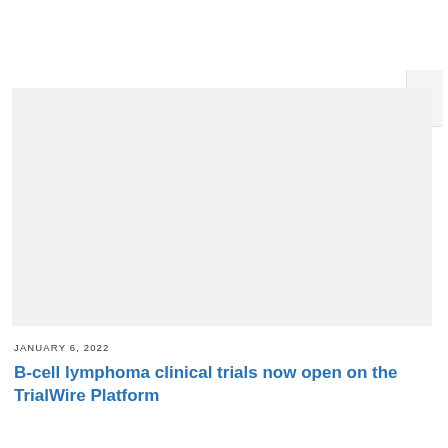[Figure (photo): Gray placeholder image panel for a B-cell lymphoma clinical trials article, with an X close button tab in the upper right corner.]
JANUARY 6, 2022
B-cell lymphoma clinical trials now open on the TrialWire Platform